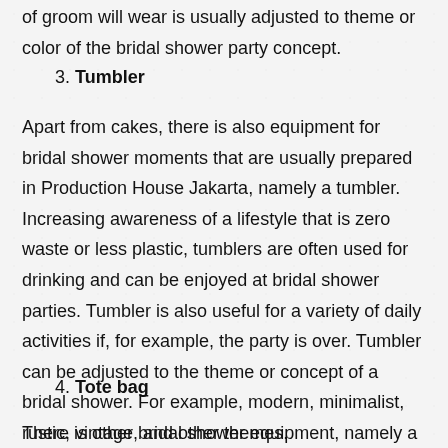of groom will wear is usually adjusted to theme or color of the bridal shower party concept.
3. Tumbler
Apart from cakes, there is also equipment for bridal shower moments that are usually prepared in Production House Jakarta, namely a tumbler. Increasing awareness of a lifestyle that is zero waste or less plastic, tumblers are often used for drinking and can be enjoyed at bridal shower parties. Tumbler is also useful for a variety of daily activities if, for example, the party is over. Tumbler can be adjusted to the theme or concept of a bridal shower. For example, modern, minimalist, rustic, vintage, and other themes.
4. Tote bag
There is other bridal shower equipment, namely a tote